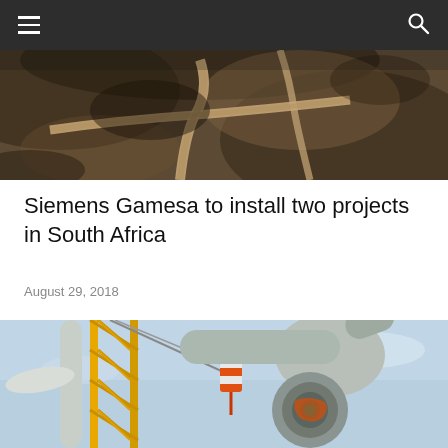Navigation bar with hamburger menu and search icon
[Figure (photo): Aerial view of a winding road through brown earth/terrain, likely a wind farm construction site in South Africa]
Siemens Gamesa to install two projects in South Africa
August 29, 2018
[Figure (photo): Close-up photo of a wind turbine being installed with a yellow crane, showing the hub and blades assembly against a blue sky]